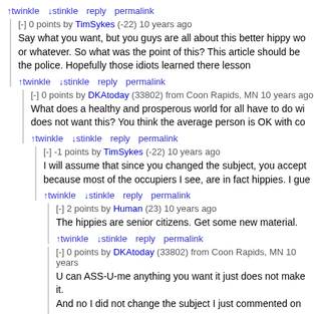↑twinkle ↓stinkle reply permalink
[-] 0 points by TimSykes (-22) 10 years ago
Say what you want, but you guys are all about this better hippy world or whatever. So what was the point of this? This article should be the police. Hopefully those idiots learned there lesson
↑twinkle ↓stinkle reply permalink
[-] 0 points by DKAtoday (33802) from Coon Rapids, MN 10 years ago
What does a healthy and prosperous world for all have to do with does not want this? You think the average person is OK with co
↑twinkle ↓stinkle reply permalink
[-] -1 points by TimSykes (-22) 10 years ago
I will assume that since you changed the subject, you accept because most of the occupiers I see, are in fact hippies. I gue
↑twinkle ↓stinkle reply permalink
[-] 2 points by Human (23) 10 years ago
The hippies are senior citizens. Get some new material.
↑twinkle ↓stinkle reply permalink
[-] 0 points by DKAtoday (33802) from Coon Rapids, MN 10 years
U can ASS-U-me anything you want it just does not make it.
And no I did not change the subject I just commented on yo
↑twinkle ↓stinkle reply permalink